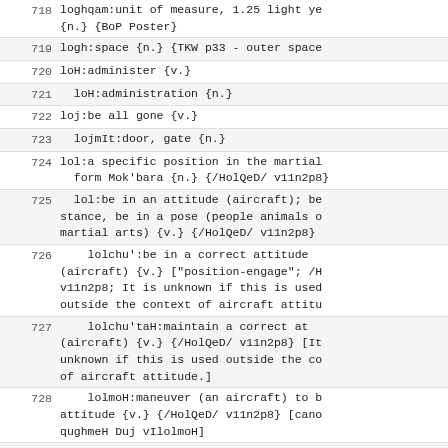718 loghqam:unit of measure, 1.25 light ye {n.} {BoP Poster}
719 logh:space {n.} {TKW p33 - outer space
720 loH:administer {v.}
721 loH:administration {n.}
722 loj:be all gone {v.}
723 lojmIt:door, gate {n.}
724 lol:a specific position in the martial form Mok'bara {n.} {/HolQeD/ v11n2p8}
725 lol:be in an attitude (aircraft); be stance, be in a pose (people animals c martial arts) {v.} {/HolQeD/ v11n2p8}
726 lolchu':be in a correct attitude (aircraft) {v.} ["position-engage"; /H v11n2p8; It is unknown if this is used outside the context of aircraft attitu
727 lolchu'taH:maintain a correct at (aircraft) {v.} {/HolQeD/ v11n2p8} [It unknown if this is used outside the co of aircraft attitude.]
728 lolmoH:maneuver (an aircraft) to b attitude {v.} {/HolQeD/ v11n2p8} [canc qughmeH Duj vIlolmoH]
729 lolSeHcha:attitude-control thruste